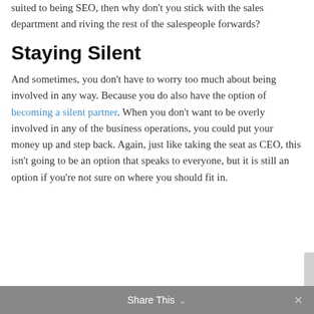suited to being SEO, then why don't you stick with the sales department and riving the rest of the salespeople forwards?
Staying Silent
And sometimes, you don't have to worry too much about being involved in any way. Because you do also have the option of becoming a silent partner. When you don't want to be overly involved in any of the business operations, you could put your money up and step back. Again, just like taking the seat as CEO, this isn't going to be an option that speaks to everyone, but it is still an option if you're not sure on where you should fit in.
Share This ∨  ✕